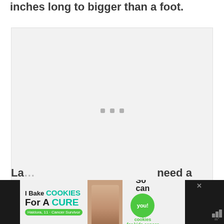inches long to bigger than a foot.
[Figure (photo): Large light gray image placeholder area with three small gray square dots in the center, indicating a loading or missing image.]
La... need a to...
[Figure (infographic): Advertisement banner: 'I Bake COOKIES For A CURE' with photo of a girl (Haldora, 11, Cancer Survivor) and green 'So can you!' button with cookies for kids cancer logo. Close button visible. Moat analytics icon on right.]